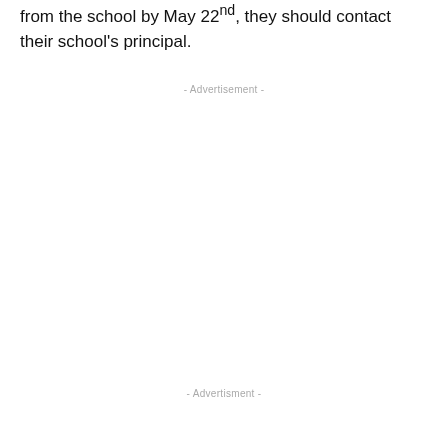from the school by May 22nd, they should contact their school's principal.
- Advertisement -
- Advertisment -